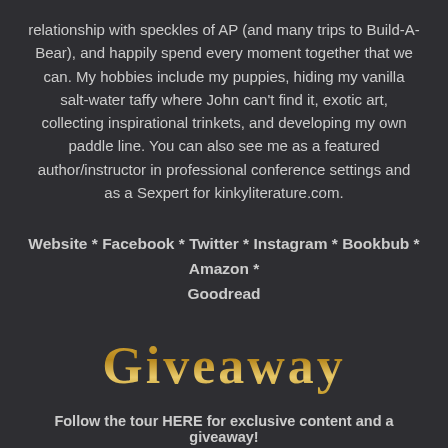relationship with speckles of AP (and many trips to Build-A-Bear), and happily spend every moment together that we can. My hobbies include my puppies, hiding my vanilla salt-water taffy where John can't find it, exotic art, collecting inspirational trinkets, and developing my own paddle line. You can also see me as a featured author/instructor in professional conference settings and as a Sexpert for kinkyliterature.com.
Website * Facebook * Twitter * Instagram * Bookbub * Amazon * Goodread
GIVEAWAY
Follow the tour HERE for exclusive content and a giveaway!